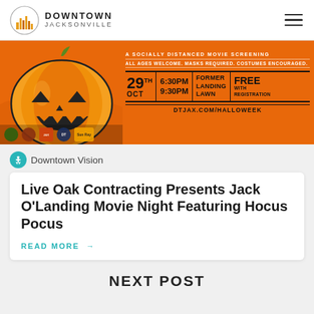DOWNTOWN JACKSONVILLE
[Figure (illustration): Halloween Jack O'Landing event banner with a jack-o-lantern illustration on orange background. Text reads: A Socially Distanced Movie Screening. All Ages Welcome. Masks Required. Costumes Encouraged. 29th OCT | 6:30PM 9:30PM | Former Landing Lawn | Free with Registration. DTJAX.COM/HALLOWEEK]
Downtown Vision
Live Oak Contracting Presents Jack O'Landing Movie Night Featuring Hocus Pocus
READ MORE →
NEXT POST